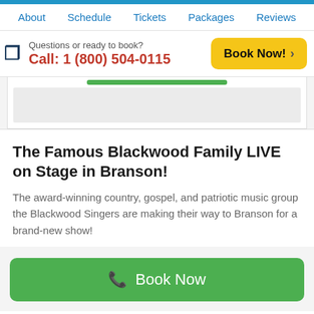About  Schedule  Tickets  Packages  Reviews
Questions or ready to book?
Call: 1 (800) 504-0115
Book Now!
The Famous Blackwood Family LIVE on Stage in Branson!
The award-winning country, gospel, and patriotic music group the Blackwood Singers are making their way to Branson for a brand-new show!
Book Now